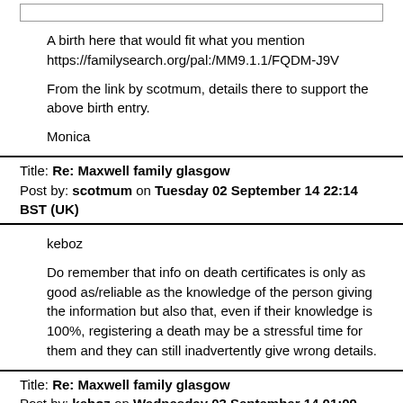A birth here that would fit what you mention
https://familysearch.org/pal:/MM9.1.1/FQDM-J9V
From the link by scotmum, details there to support the above birth entry.
Monica
Title: Re: Maxwell family glasgow
Post by: scotmum on Tuesday 02 September 14 22:14 BST (UK)
keboz
Do remember that info on death certificates is only as good as/reliable as the knowledge of the person giving the information but also that, even if their knowledge is 100%, registering a death may be a stressful time for them and they can still inadvertently give wrong details.
Title: Re: Maxwell family glasgow
Post by: keboz on Wednesday 03 September 14 01:09 BST (UK)
Ok so sorted it out.
Her husband died before her so the death certificate was